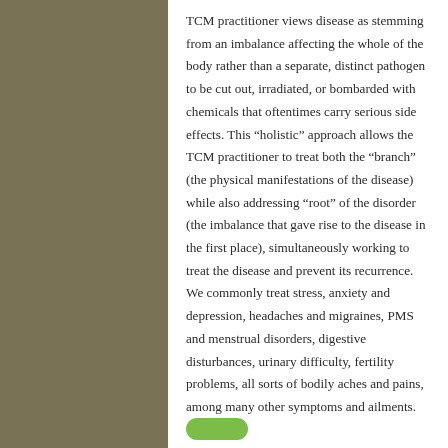TCM practitioner views disease as stemming from an imbalance affecting the whole of the body rather than a separate, distinct pathogen to be cut out, irradiated, or bombarded with chemicals that oftentimes carry serious side effects. This “holistic” approach allows the TCM practitioner to treat both the “branch” (the physical manifestations of the disease) while also addressing “root” of the disorder (the imbalance that gave rise to the disease in the first place), simultaneously working to treat the disease and prevent its recurrence. We commonly treat stress, anxiety and depression, headaches and migraines, PMS and menstrual disorders, digestive disturbances, urinary difficulty, fertility problems, all sorts of bodily aches and pains, among many other symptoms and ailments.